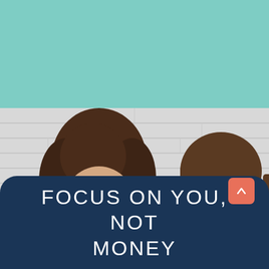[Figure (photo): Two young women laughing and looking at each other, standing against a white brick wall background. The upper portion of the image shows a teal/mint green background. One woman has curly brown hair on the left, and the other has straight brown hair on the right.]
FOCUS ON YOU, NOT MONEY